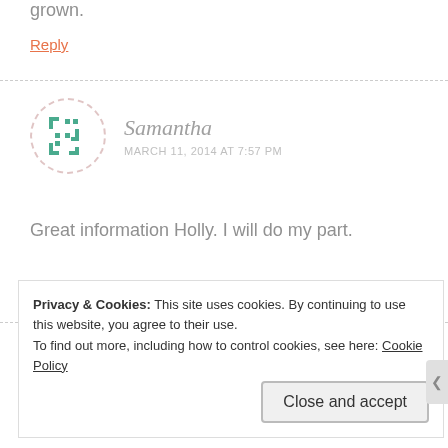grown.
Reply
[Figure (illustration): Avatar icon for commenter Samantha — teal geometric puzzle-piece symbol inside a dashed circle]
Samantha
MARCH 11, 2014 AT 7:57 PM
Great information Holly. I will do my part.
Reply
Privacy & Cookies: This site uses cookies. By continuing to use this website, you agree to their use.
To find out more, including how to control cookies, see here: Cookie Policy
Close and accept